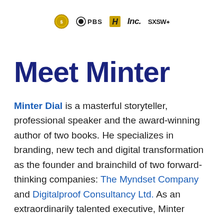[Figure (logo): Row of five media brand logos: a gold coin/seal logo, PBS logo, History channel H logo, Inc. magazine logo, SXSW logo]
Meet Minter
Minter Dial is a masterful storyteller, professional speaker and the award-winning author of two books. He specializes in branding, new tech and digital transformation as the founder and brainchild of two forward-thinking companies: The Myndset Company and Digitalproof Consultancy Ltd. As an extraordinarily talented executive, Minter